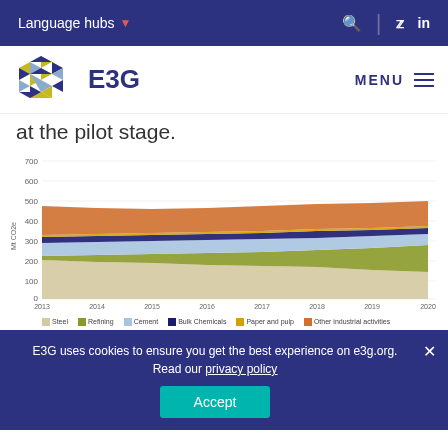Language hubs
[Figure (logo): E3G hexagonal logo with colored triangles in gold, blue, and dark blue, followed by text 'E3G']
at the pilot stage.
[Figure (area-chart): Industrial emissions by sector 2013-2020]
E3G uses cookies to ensure you get the best experience on e3g.org. Read our privacy policy
Accept